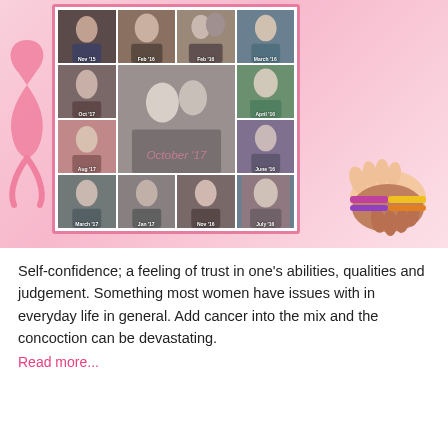[Figure (photo): Pink breast cancer awareness themed collage showing a woman's photos at different dates from Nov '15 through Oct '17, arranged in a grid inside a pink-bordered frame on a pink background with a pink ribbon on the left and an illustration of clasped hands with colored bracelets on the right.]
Self-confidence; a feeling of trust in one's abilities, qualities and judgement. Something most women have issues with in everyday life in general. Add cancer into the mix and the concoction can be devastating.
Read more...